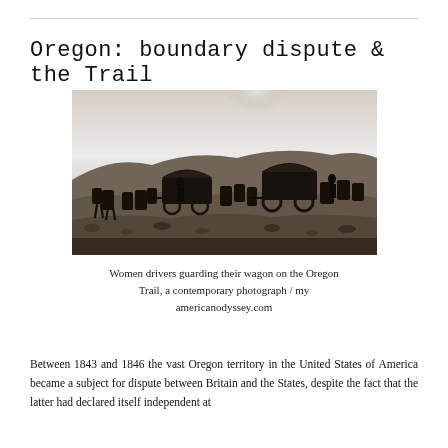Oregon: boundary dispute & the Trail
[Figure (photo): Black and white historical photograph showing women drivers guarding their wagon on the Oregon Trail, with covered wagons, horses, and arid landscape visible.]
Women drivers guarding their wagon on the Oregon Trail, a contemporary photograph / my americanodyssey.com
Between 1843 and 1846 the vast Oregon territory in the United States of America became a subject for dispute between Britain and the States, despite the fact that the latter had declared itself independent at